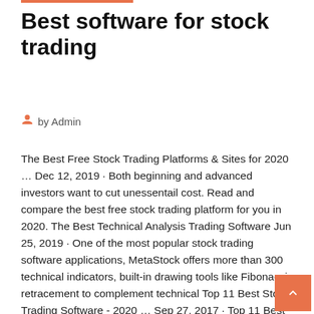Best software for stock trading
by Admin
The Best Free Stock Trading Platforms & Sites for 2020 … Dec 12, 2019 · Both beginning and advanced investors want to cut unessentail cost. Read and compare the best free stock trading platform for you in 2020.
The Best Technical Analysis Trading Software Jun 25, 2019 · One of the most popular stock trading software applications, MetaStock offers more than 300 technical indicators, built-in drawing tools like Fibonacci retracement to complement technical Top 11 Best Stock Trading Software - 2020 … Sep 27, 2017 · Top 11 Best Stock Trading Software | Online Stock Trading Software is a type of software that is commonly used by day traders in the market. This type of software can do many different things for investors. Stock trading software is designed to help them make better trades and be a valuable